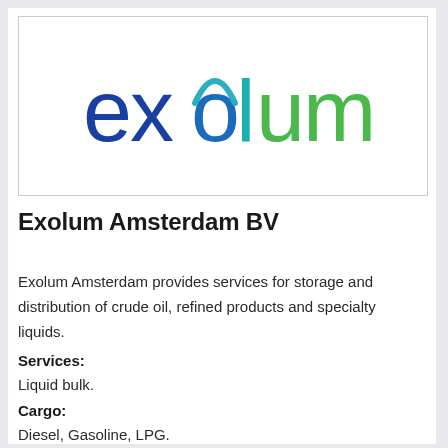[Figure (logo): Exolum company logo — the word 'exolum' in lowercase with 'ex' in dark blue, 'o' in mid blue, 'l' in teal/cyan, 'um' in green, with a stylized swoosh/arch over the 'o'.]
Exolum Amsterdam BV
Exolum Amsterdam provides services for storage and distribution of crude oil, refined products and specialty liquids.
Services:
Liquid bulk.
Cargo:
Diesel, Gasoline, LPG.